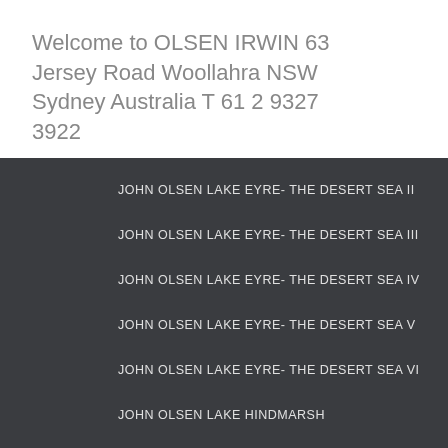Welcome to OLSEN IRWIN 63 Jersey Road Woollahra NSW Sydney Australia T 61 2 9327 3922
JOHN OLSEN LAKE EYRE- THE DESERT SEA II
JOHN OLSEN LAKE EYRE- THE DESERT SEA III
JOHN OLSEN LAKE EYRE- THE DESERT SEA IV
JOHN OLSEN LAKE EYRE- THE DESERT SEA V
JOHN OLSEN LAKE EYRE- THE DESERT SEA VI
JOHN OLSEN LAKE HINDMARSH